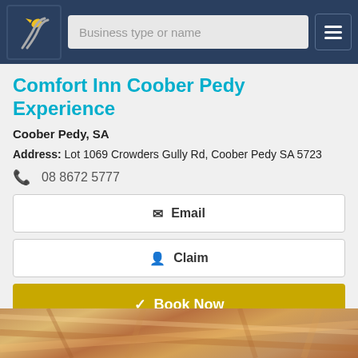Business type or name
Comfort Inn Coober Pedy Experience
Coober Pedy, SA
Address: Lot 1069 Crowders Gully Rd, Coober Pedy SA 5723
08 8672 5777
Email
Claim
Book Now
View Details
[Figure (photo): Photo of rocky landscape at Coober Pedy, showing sandstone/opal mining terrain with warm brown and orange tones]